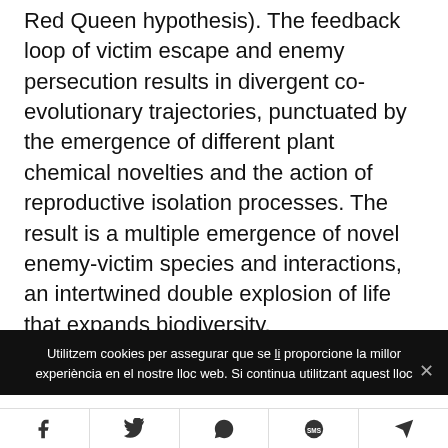Red Queen hypothesis). The feedback loop of victim escape and enemy persecution results in divergent co-evolutionary trajectories, punctuated by the emergence of different plant chemical novelties and the action of reproductive isolation processes. The result is a multiple emergence of novel enemy-victim species and interactions, an intertwined double explosion of life that expands biodiversity.
Utilitzem cookies per assegurar que se li proporcione la millor experiència en el nostre lloc web. Si continua utilitzant aquest lloc
[Figure (other): Social share bar with Facebook, Twitter, WhatsApp, SMS, and Telegram icons]